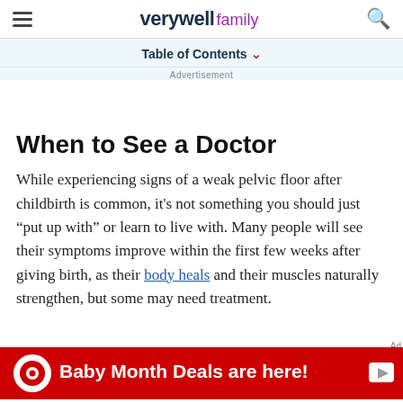verywell family
Table of Contents
Advertisement
When to See a Doctor
While experiencing signs of a weak pelvic floor after childbirth is common, it's not something you should just "put up with" or learn to live with. Many people will see their symptoms improve within the first few weeks after giving birth, as their body heals and their muscles naturally strengthen, but some may need treatment.
[Figure (infographic): Target Baby Month Deals are here! advertisement banner with Target bullseye logo in red and white.]